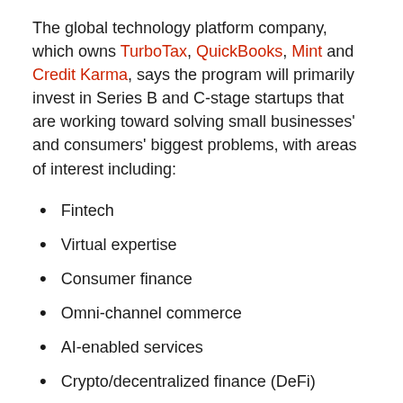The global technology platform company, which owns TurboTax, QuickBooks, Mint and Credit Karma, says the program will primarily invest in Series B and C-stage startups that are working toward solving small businesses' and consumers' biggest problems, with areas of interest including:
Fintech
Virtual expertise
Consumer finance
Omni-channel commerce
AI-enabled services
Crypto/decentralized finance (DeFi)